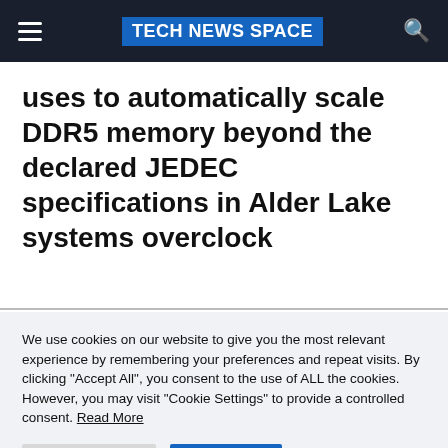TECH NEWS SPACE
uses to automatically scale DDR5 memory beyond the declared JEDEC specifications in Alder Lake systems overclock
We use cookies on our website to give you the most relevant experience by remembering your preferences and repeat visits. By clicking "Accept All", you consent to the use of ALL the cookies. However, you may visit "Cookie Settings" to provide a controlled consent. Read More
Cookie Settings
Accept All